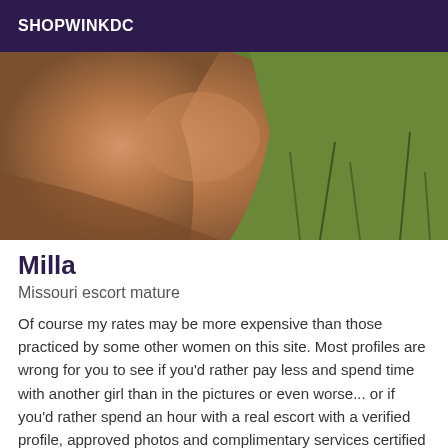SHOPWINKDC
[Figure (photo): Outdoor photo showing a person against a grass background]
Milla
Missouri escort mature
Of course my rates may be more expensive than those practiced by some other women on this site. Most profiles are wrong for you to see if you'd rather pay less and spend time with another girl than in the pictures or even worse... or if you'd rather spend an hour with a real escort with a verified profile, approved photos and complimentary services certified by many reviews of users of this site. There is no discount if you prefer to try